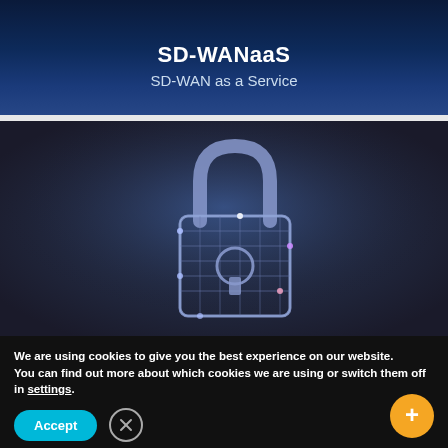SD-WANaaS
SD-WAN as a Service
[Figure (photo): Digital circuit board padlock illustration on dark background, representing network security and SD-WAN encryption]
We are using cookies to give you the best experience on our website.
You can find out more about which cookies we are using or switch them off in settings.
Accept | Close | +